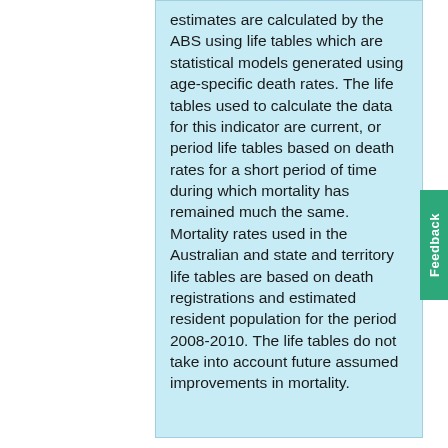estimates are calculated by the ABS using life tables which are statistical models generated using age-specific death rates. The life tables used to calculate the data for this indicator are current, or period life tables based on death rates for a short period of time during which mortality has remained much the same. Mortality rates used in the Australian and state and territory life tables are based on death registrations and estimated resident population for the period 2008-2010. The life tables do not take into account future assumed improvements in mortality.